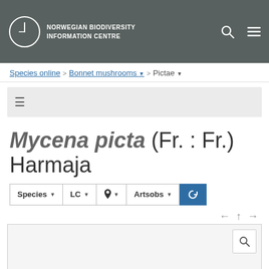Norwegian Biodiversity Information Centre
Species online > Bonnet mushrooms > Pictae
Mycena picta (Fr. : Fr.) Harmaja
Species ▼  LC ▼  📍▼  Artsobs ▼  🔄
[Figure (map): Map area with search button, navigation arrows (left, up, right), light gray map background]